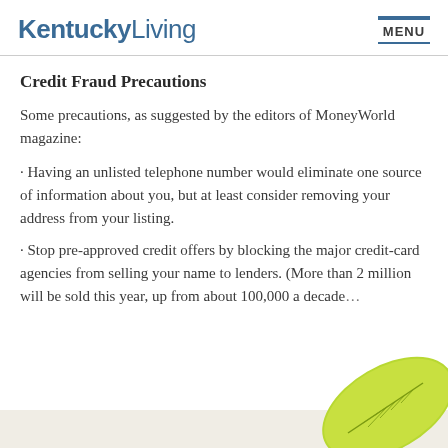KentuckyLiving | MENU
Credit Fraud Precautions
Some precautions, as suggested by the editors of MoneyWorld magazine:
· Having an unlisted telephone number would eliminate one source of information about you, but at least consider removing your address from your listing.
· Stop pre-approved credit offers by blocking the major credit-card agencies from selling your name to lenders. (More than 2 million will be sold this year, up from about 100,000 a decade…